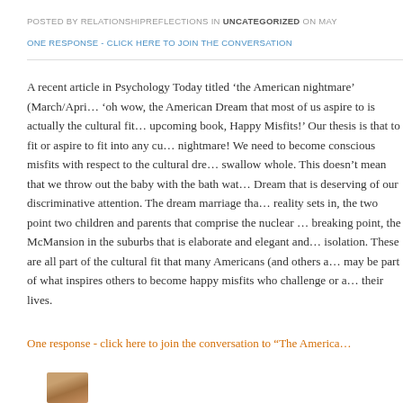POSTED BY RELATIONSHIPREFLECTIONS IN UNCATEGORIZED ON MAY
ONE RESPONSE - CLICK HERE TO JOIN THE CONVERSATION
A recent article in Psychology Today titled ‘the American nightmare’ (March/April) gave us an ‘oh wow, the American Dream that most of us aspire to is actually the cultural fit we discuss in our upcoming book, Happy Misfits!’ Our thesis is that to fit or aspire to fit into any culture can be a nightmare! We need to become conscious misfits with respect to the cultural dreams that we tend to swallow whole. This doesn’t mean that we throw out the baby with the bath water. There is stuff in any Dream that is deserving of our discriminative attention. The dream marriage that turns sour once reality sets in, the two point two children and parents that comprise the nuclear family stretched to breaking point, the McMansion in the suburbs that is elaborate and elegant and yet a place of isolation. These are all part of the cultural fit that many Americans (and others around the world) may be part of what inspires others to become happy misfits who challenge or alter the dreams in their lives.
One response - click here to join the conversation to “The America…